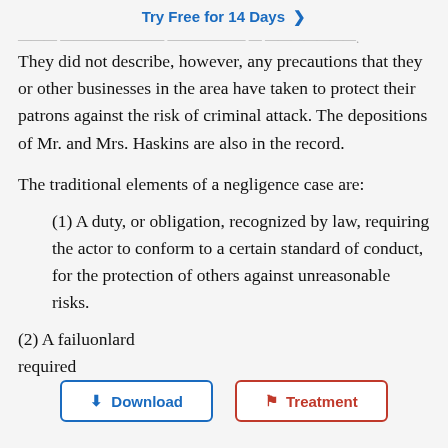Try Free for 14 Days >
...have experienced problems with robberies or burglaries. They did not describe, however, any precautions that they or other businesses in the area have taken to protect their patrons against the risk of criminal attack. The depositions of Mr. and Mrs. Haskins are also in the record.
The traditional elements of a negligence case are:
(1) A duty, or obligation, recognized by law, requiring the actor to conform to a certain standard of conduct, for the protection of others against unreasonable risks.
(2) A failure to conform to the standard required